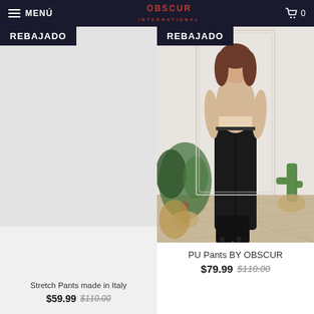MENÚ | OBSCUR INTERNATIONAL | 🛒 0
[Figure (photo): Left product card: REBAJADO badge, empty/light gray background product area for Stretch Pants made in Italy]
Stretch Pants made in Italy
$59.99 $110.00
[Figure (photo): Right product card: REBAJADO badge, photo of a woman wearing beige crop top and black PU leather pants, standing in front of white wall with plants]
PU Pants BY OBSCUR
$79.99 $110.00